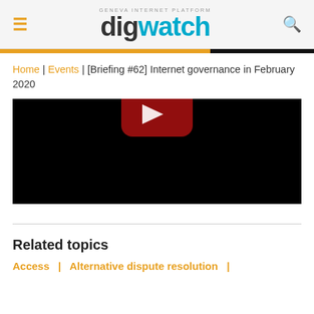digwatch — Geneva Internet Platform
Home | Events | [Briefing #62] Internet governance in February 2020
[Figure (screenshot): Embedded YouTube video player showing a black screen with a partially visible YouTube play button (red rounded rectangle with white triangle) at the top center.]
Related topics
Access  |  Alternative dispute resolution  |